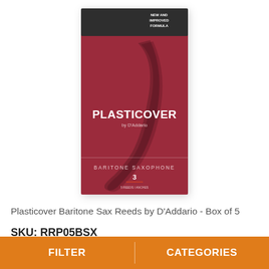[Figure (photo): Product box of Plasticover Baritone Saxophone reeds by D'Addario - dark red/maroon colored box with 'NEW AND IMPROVED FORMULA' banner at top, 'PLASTICOVER by D'Addario' branding, saxophone graphic, 'BARITONE SAXOPHONE' text at bottom]
Plasticover Baritone Sax Reeds by D'Addario - Box of 5
SKU: RRP05BSX
Plasticover features a brilliant, projecting tone that
FILTER    CATEGORIES